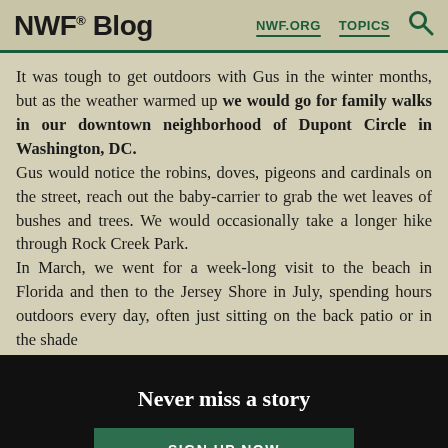NWF® Blog | NWF.ORG | TOPICS
It was tough to get outdoors with Gus in the winter months, but as the weather warmed up we would go for family walks in our downtown neighborhood of Dupont Circle in Washington, DC.
Gus would notice the robins, doves, pigeons and cardinals on the street, reach out the baby-carrier to grab the wet leaves of bushes and trees.  We would occasionally take a longer hike through Rock Creek Park.
In March, we went for a week-long visit to the beach in Florida and then to the Jersey Shore in July, spending hours outdoors every day, often just sitting on the back patio or in the shade
Never miss a story
SIGN UP NOW